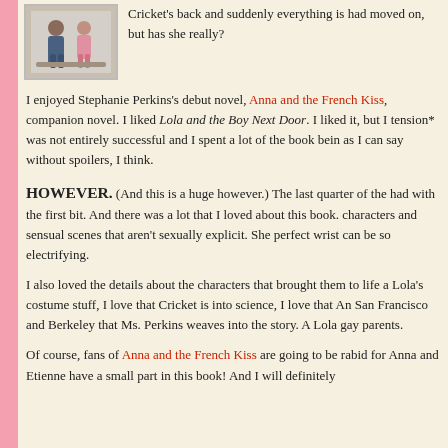[Figure (photo): Photo of two people sitting together, appearing to be a book cover or promotional image for Lola and the Boy Next Door]
Cricket's back and suddenly everything is had moved on, but has she really?
I enjoyed Stephanie Perkins's debut novel, Anna and the French Kiss, companion novel. I liked Lola and the Boy Next Door. I liked it, but I tension* was not entirely successful and I spent a lot of the book bein as I can say without spoilers, I think.
HOWEVER. (And this is a huge however.) The last quarter of the had with the first bit. And there was a lot that I loved about this book. characters and sensual scenes that aren't sexually explicit. She perfect wrist can be so electrifying.
I also loved the details about the characters that brought them to life a Lola's costume stuff, I love that Cricket is into science, I love that An San Francisco and Berkeley that Ms. Perkins weaves into the story. A Lola gay parents.
Of course, fans of Anna and the French Kiss are going to be rabid for Anna and Etienne have a small part in this book! And I will definitely